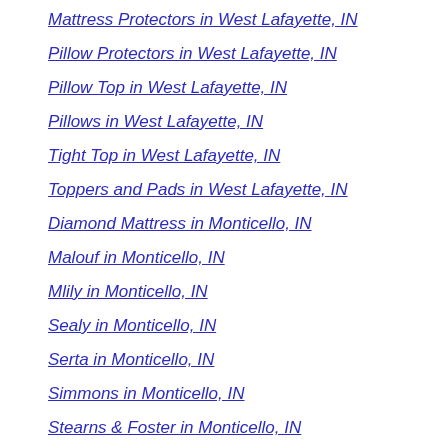Mattress Protectors in West Lafayette, IN
Pillow Protectors in West Lafayette, IN
Pillow Top in West Lafayette, IN
Pillows in West Lafayette, IN
Tight Top in West Lafayette, IN
Toppers and Pads in West Lafayette, IN
Diamond Mattress in Monticello, IN
Malouf in Monticello, IN
Mlily in Monticello, IN
Sealy in Monticello, IN
Serta in Monticello, IN
Simmons in Monticello, IN
Stearns & Foster in Monticello, IN